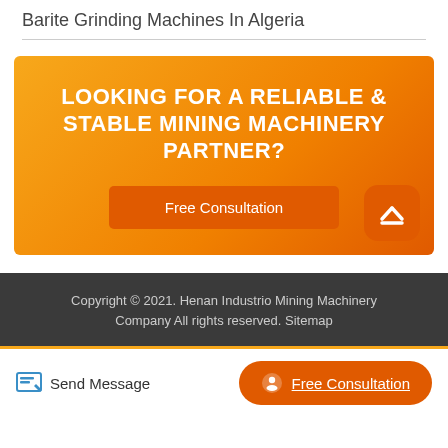Barite Grinding Machines In Algeria
[Figure (infographic): Orange gradient banner with bold white text 'LOOKING FOR A RELIABLE & STABLE MINING MACHINERY PARTNER?' and an orange 'Free Consultation' button, plus an orange scroll-to-top button in the bottom right corner.]
Copyright © 2021. Henan Industrio Mining Machinery Company All rights reserved. Sitemap
Send Message
Free Consultation